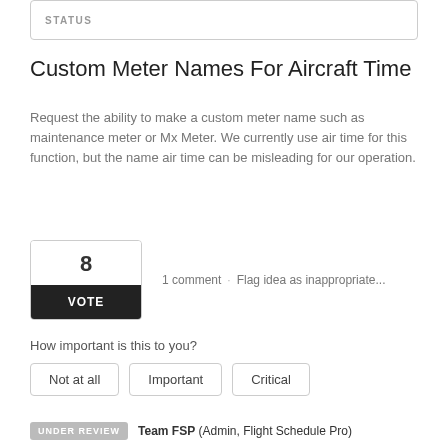STATUS
Custom Meter Names For Aircraft Time
Request the ability to make a custom meter name such as maintenance meter or Mx Meter. We currently use air time for this function, but the name air time can be misleading for our operation.
8
VOTE
1 comment · Flag idea as inappropriate...
How important is this to you?
Not at all  Important  Critical
UNDER REVIEW  Team FSP (Admin, Flight Schedule Pro)